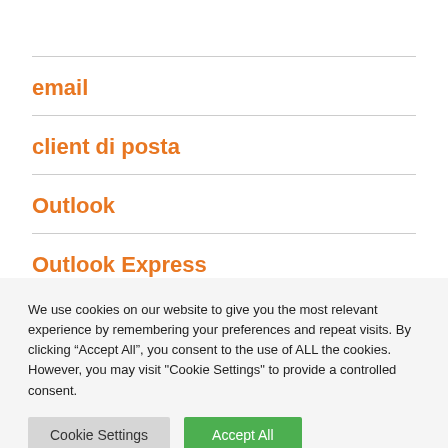email
client di posta
Outlook
Outlook Express
We use cookies on our website to give you the most relevant experience by remembering your preferences and repeat visits. By clicking “Accept All”, you consent to the use of ALL the cookies. However, you may visit "Cookie Settings" to provide a controlled consent.